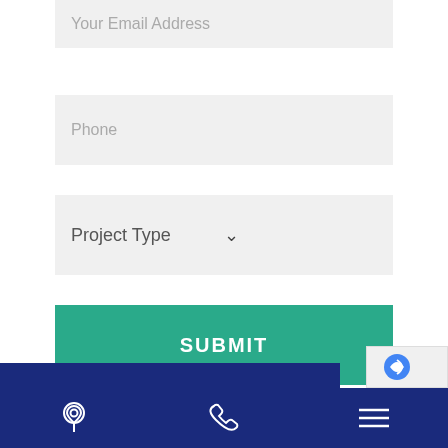[Figure (screenshot): Contact form showing email address input field with placeholder text 'Your Email Address' on light gray background]
[Figure (screenshot): Contact form showing phone input field with placeholder text 'Phone' on light gray background]
[Figure (screenshot): Contact form showing 'Project Type' dropdown selector with chevron arrow on light gray background]
[Figure (screenshot): Green SUBMIT button]
[Figure (screenshot): Dark blue mobile navigation bar with location pin icon, phone icon, and hamburger menu icon]